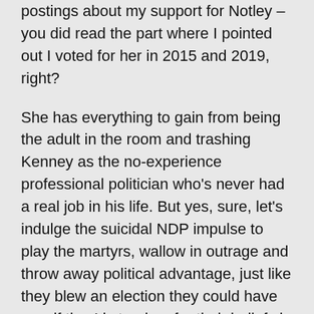postings about my support for Notley – you did read the part where I pointed out I voted for her in 2015 and 2019, right?
She has everything to gain from being the adult in the room and trashing Kenney as the no-experience professional politician who's never had a real job in his life. But yes, sure, let's indulge the suicidal NDP impulse to play the martyrs, wallow in outrage and throw away political advantage, just like they blew an election they could have won if they'd stood up for their beliefs in a manner that was